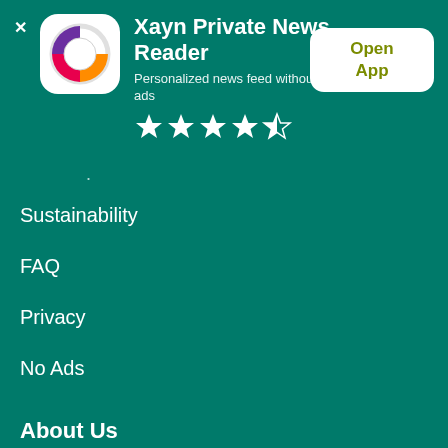[Figure (logo): Xayn app icon: circular logo with colorful swoosh shapes in purple, pink/red, and orange on white background]
Xayn Private News Reader
Personalized news feed without ads
[Figure (other): 4.5 star rating: 4 full stars and 1 half star]
Open App
.
Sustainability
FAQ
Privacy
No Ads
About Us
Company